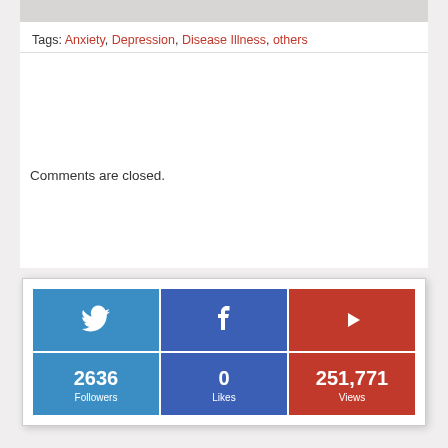Tags: Anxiety, Depression, Disease Illness, others
Comments are closed.
[Figure (infographic): Social media stats widget showing Twitter (2636 Followers), Facebook (0 Likes), YouTube (251,771 Views) in a 3-column grid with colored backgrounds]